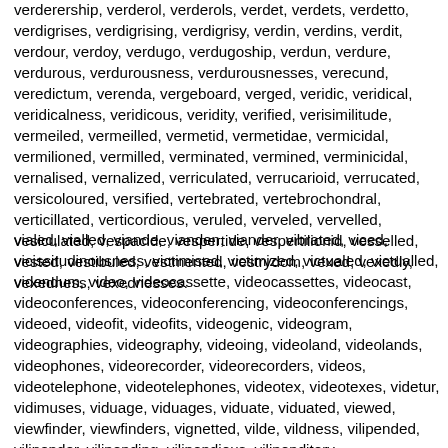verderership, verderol, verderols, verdet, verdets, verdetto, verdigrises, verdigrising, verdigrisy, verdin, verdins, verdit, verdour, verdoy, verdugo, verdugoship, verdun, verdure, verdurous, verdurousness, verdurousnesses, verecund, veredictum, verenda, vergeboard, verged, veridic, veridical, veridicalness, veridicous, veridity, verified, verisimilitude, vermeiled, vermeilled, vermetid, vermetidae, vermicidal, vermilioned, vermilled, verminated, vermined, verminicidal, vernalised, vernalized, verriculated, verrucarioid, verrucated, versicoloured, versified, vertebrated, vertebrochondral, verticillated, verticordious, veruled, verveled, vervelled, vesiculated, vespacide, vespertide, vespertilionid, vesselled, vested, vestibuled, vestmented, vestrydom, vexed, vexedly, vexedness, vexednesses.
vialed, vialled, viande, vianden, viander, vibrated, viced, vicissitudinousness, victimised, victimized, victualed, victualled, videndum, video, videocassette, videocassettes, videocast, videoconferences, videoconferencing, videoconferencings, videoed, videofit, videofits, videogenic, videogram, videographies, videography, videoing, videoland, videolands, videophones, videorecorder, videorecorders, videos, videotelephone, videotelephones, videotex, videotexes, videtur, vidimuses, viduage, viduages, viduate, viduated, viewed, viewfinder, viewfinders, vignetted, vilde, vildness, vilipended, viliponder, vilipending, vilipendious, vilipenditory,